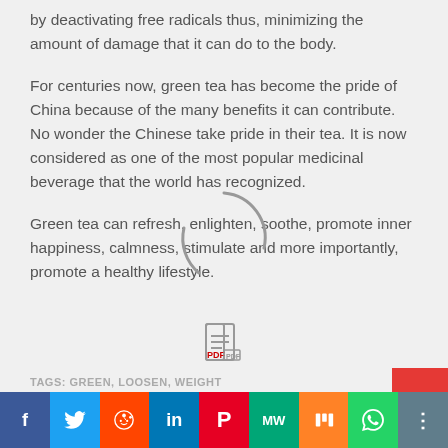by deactivating free radicals thus, minimizing the amount of damage that it can do to the body.
For centuries now, green tea has become the pride of China because of the many benefits it can contribute. No wonder the Chinese take pride in their tea. It is now considered as one of the most popular medicinal beverage that the world has recognized.
Green tea can refresh, enlighten, soothe, promote inner happiness, calmness, stimulate and more importantly, promote a healthy lifestyle.
[Figure (other): PDF download icon]
TAGS: GREEN, LOOSEN, WEIGHT
Social share bar: Facebook, Twitter, Reddit, LinkedIn, Pinterest, MW, Mix, WhatsApp, Share